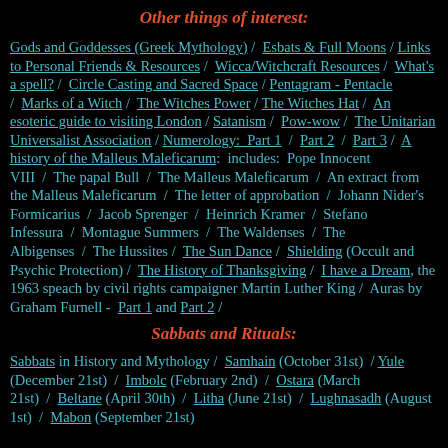Other things of interest:
Gods and Goddesses (Greek Mythology) / Esbats & Full Moons / Links to Personal Friends & Resources / Wicca/Witchcraft Resources / What's a spell? / Circle Casting and Sacred Space / Pentagram - Pentacle / Marks of a Witch / The Witches Power / The Witches Hat / An esoteric guide to visiting London / Satanism / Pow-wow / The Unitarian Universalist Association / Numerology: Part 1 / Part 2 / Part 3 / A history of the Malleus Maleficarum: includes: Pope Innocent VIII / The papal Bull / The Malleus Maleficarum / An extract from the Malleus Maleficarum / The letter of approbation / Johann Nider's Formicarius / Jacob Sprenger / Heinrich Kramer / Stefano Infessura / Montague Summers / The Waldenses / The Albigenses / The Hussites / The Sun Dance / Shielding (Occult and Psychic Protection) / The History of Thanksgiving / I have a Dream, the 1963 speach by civil rights campaigner Martin Luther King / Auras by Graham Furnell - Part 1 and Part 2 /
Sabbats and Rituals:
Sabbats in History and Mythology / Samhain (October 31st) / Yule (December 21st) / Imbolc (February 2nd) / Ostara (March 21st) / Beltane (April 30th) / Litha (June 21st) / Lughnasadh (August 1st) / Mabon (September 21st)